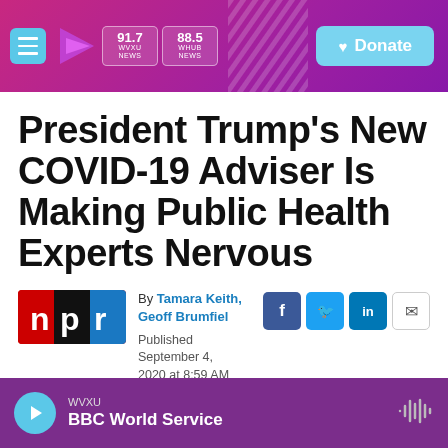WVXU 91.7 NEWS | WHUB 88.5 NEWS | Donate
President Trump's New COVID-19 Adviser Is Making Public Health Experts Nervous
By Tamara Keith, Geoff Brumfiel
Published September 4, 2020 at 8:59 AM EDT
WVXU - BBC World Service